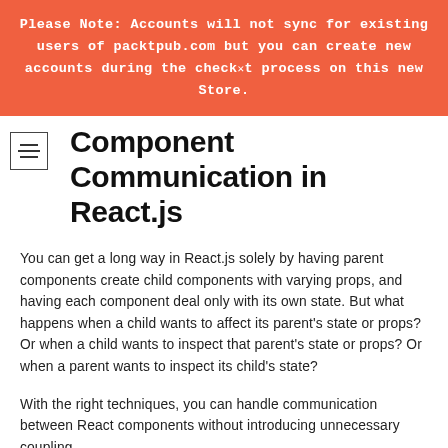Please Note: Accounts will not sync for existing users of packtpub.com but you can create new accounts during the checkout process on this new Store.
Component Communication in React.js
You can get a long way in React.js solely by having parent components create child components with varying props, and having each component deal only with its own state. But what happens when a child wants to affect its parent's state or props? Or when a child wants to inspect that parent's state or props? Or when a parent wants to inspect its child's state?
With the right techniques, you can handle communication between React components without introducing unnecessary coupling.